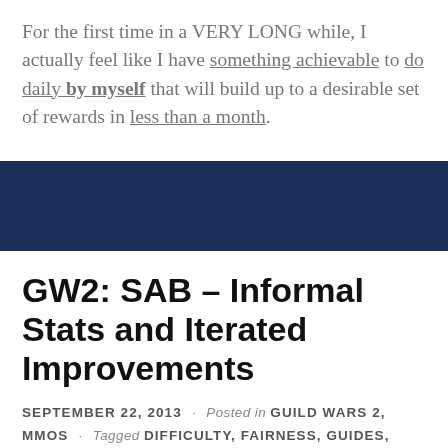For the first time in a VERY LONG while, I actually feel like I have something achievable to do daily by myself that will build up to a desirable set of rewards in less than a month.
[Figure (other): Dark navy blue horizontal banner/divider bar]
GW2: SAB – Informal Stats and Iterated Improvements
SEPTEMBER 22, 2013 · Posted in GUILD WARS 2, MMOS · Tagged DIFFICULTY, FAIRNESS, GUIDES, LATENCY, STATS, SUPER...